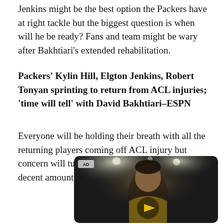Jenkins might be the best option the Packers have at right tackle but the biggest question is when will he be ready? Fans and team might be wary after Bakhtiari's extended rehabilitation.
Packers' Kylin Hill, Elgton Jenkins, Robert Tonyan sprinting to return from ACL injuries; 'time will tell' with David Bakhtiari–ESPN
Everyone will be holding their breath with all the returning players coming off ACL injury but concern will turn to panic if Bakhtiari misses a decent amount of training camp.
[Figure (photo): Video player thumbnail showing a basketball player under stage lights with a play button overlay and an AD label in the top-left corner.]